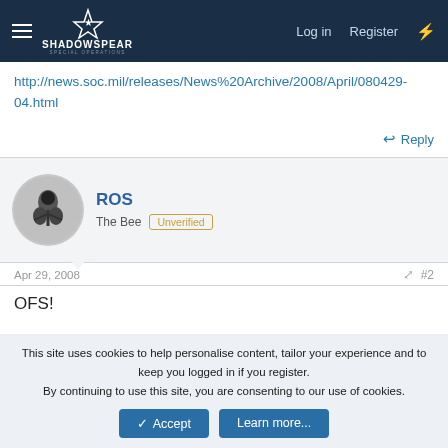ShadowSpear Special Operations — Log in | Register
http://news.soc.mil/releases/News%20Archive/2008/April/080429-04.html
Reply
ROS
The Bee  Unverified
Apr 29, 2008   #2
OFS!
Reply
This site uses cookies to help personalise content, tailor your experience and to keep you logged in if you register.
By continuing to use this site, you are consenting to our use of cookies.